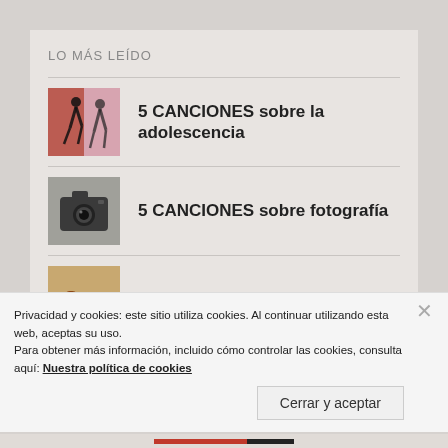LO MÁS LEÍDO
5 CANCIONES sobre la adolescencia
5 CANCIONES sobre fotografía
5 CANCIONES sobre caballos
Privacidad y cookies: este sitio utiliza cookies. Al continuar utilizando esta web, aceptas su uso.
Para obtener más información, incluido cómo controlar las cookies, consulta aquí: Nuestra política de cookies
Cerrar y aceptar